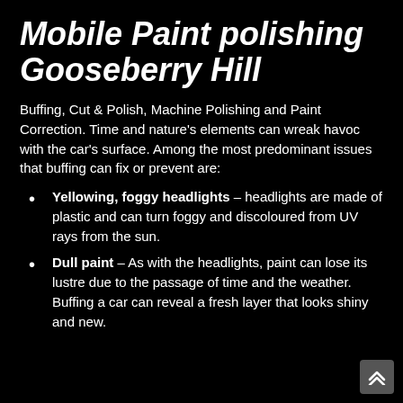Mobile Paint polishing Gooseberry Hill
Buffing, Cut & Polish, Machine Polishing and Paint Correction. Time and nature's elements can wreak havoc with the car's surface. Among the most predominant issues that buffing can fix or prevent are:
Yellowing, foggy headlights – headlights are made of plastic and can turn foggy and discoloured from UV rays from the sun.
Dull paint – As with the headlights, paint can lose its lustre due to the passage of time and the weather. Buffing a car can reveal a fresh layer that looks shiny and new.